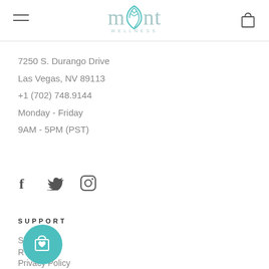Mint Wellness — navigation header with logo
7250 S. Durango Drive
Las Vegas, NV 89113
+1 (702) 748.9144
Monday - Friday
9AM - 5PM (PST)
[Figure (illustration): Social media icons: Facebook (f), Twitter (bird), Instagram (camera circle)]
SUPPORT
Shipping
R...
Privacy Policy
[Figure (illustration): Teal circular chat/shopping button with shopping bag and heart icon]